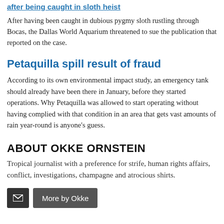after being caught in sloth heist
After having been caught in dubious pygmy sloth rustling through Bocas, the Dallas World Aquarium threatened to sue the publication that reported on the case.
Petaquilla spill result of fraud
According to its own environmental impact study, an emergency tank should already have been there in January, before they started operations. Why Petaquilla was allowed to start operating without having complied with that condition in an area that gets vast amounts of rain year-round is anyone’s guess.
ABOUT OKKE ORNSTEIN
Tropical journalist with a preference for strife, human rights affairs, conflict, investigations, champagne and atrocious shirts.
More by Okke